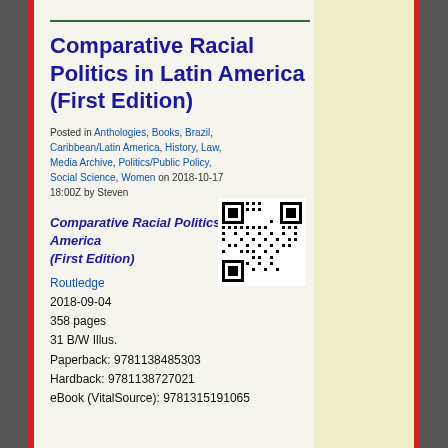Comparative Racial Politics in Latin America (First Edition)
Posted in Anthologies, Books, Brazil, Caribbean/Latin America, History, Law, Media Archive, Politics/Public Policy, Social Science, Women on 2018-10-17 18:00Z by Steven
[Figure (other): QR code for the book page]
Comparative Racial Politics in Latin America (First Edition)
Routledge
2018-09-04
358 pages
31 B/W Illus.
Paperback: 9781138485303
Hardback: 9781138727021
eBook (VitalSource): 9781315191065